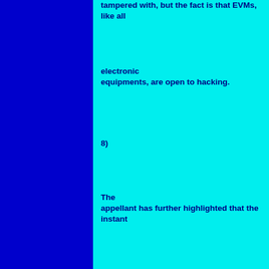tampered with, but the fact is that EVMs, like all
electronic
equipments, are open to hacking.
8)
The
appellant has further highlighted that the instant
matter
arises out of the refusal of the ECI to incorporate
certain
obvious safeguard in the EVMs called “paper